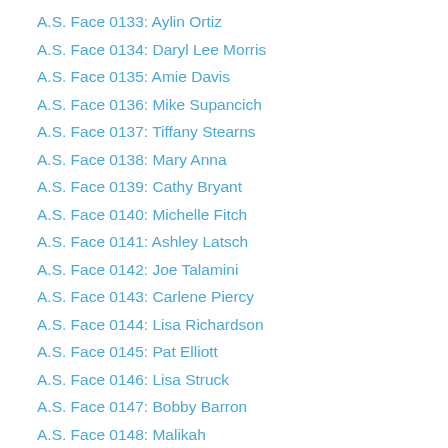A.S. Face 0133: Aylin Ortiz
A.S. Face 0134: Daryl Lee Morris
A.S. Face 0135: Amie Davis
A.S. Face 0136: Mike Supancich
A.S. Face 0137: Tiffany Stearns
A.S. Face 0138: Mary Anna
A.S. Face 0139: Cathy Bryant
A.S. Face 0140: Michelle Fitch
A.S. Face 0141: Ashley Latsch
A.S. Face 0142: Joe Talamini
A.S. Face 0143: Carlene Piercy
A.S. Face 0144: Lisa Richardson
A.S. Face 0145: Pat Elliott
A.S. Face 0146: Lisa Struck
A.S. Face 0147: Bobby Barron
A.S. Face 0148: Malikah
A.S. Face 0149: Daniel Garcia
A.S. Face 0150: Jess Axelson
A.S. Face 0151: Shirley Shanks
A.S. Face 0152: ...